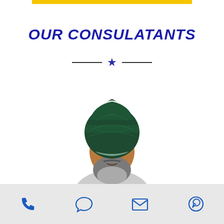[Figure (other): Gold/yellow horizontal bar at the top center of the page]
OUR CONSULATANTS
[Figure (other): Decorative divider with two horizontal lines and a dark blue star in the center]
[Figure (photo): Portrait photo of a Sikh man wearing a dark green turban and a grey beard, white background]
[Figure (infographic): Footer bar with four blue icons: phone, speech bubble, envelope, and WhatsApp logo]